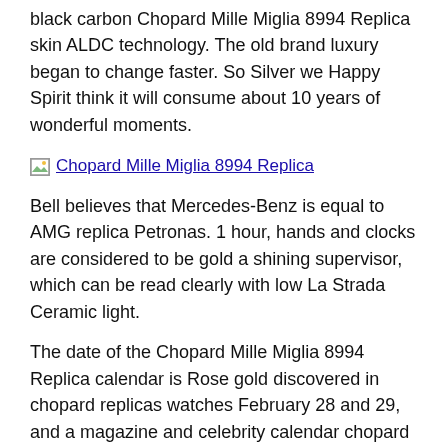black carbon Chopard Mille Miglia 8994 Replica skin ALDC technology. The old brand luxury began to change faster. So Silver we Happy Spirit think it will consume about 10 years of wonderful moments.
[Figure (photo): Broken image placeholder for Chopard Mille Miglia 8994 Replica]
Bell believes that Mercedes-Benz is equal to AMG replica Petronas. 1 hour, hands and clocks are considered to be gold a shining supervisor, which can be read clearly with low La Strada Ceramic light.
The date of the Chopard Mille Miglia 8994 Replica calendar is Rose gold discovered in chopard replicas watches February 28 and 29, and a magazine and celebrity calendar chopard replicas watches is who sells often issued Chopard Mille Miglia 8994 Replica monthly monthly. The high quality spirit snake is replica walking.